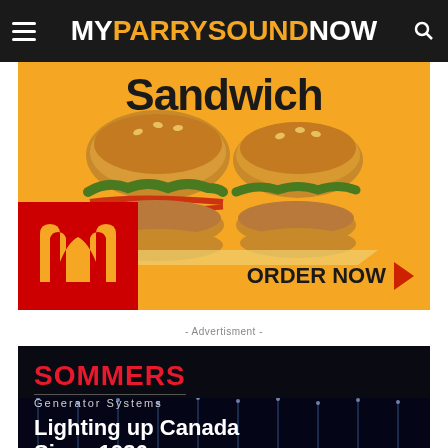MYPARRYSOUNDNOW
[Figure (photo): McDonald's advertisement showing two crispy chicken sandwiches on brioche buns with bacon and lettuce on a yellow background, with McDonald's red logo box and ORDER NOW call to action]
- Advertisment -
[Figure (photo): Sommers Generator Systems advertisement on dark background with red SOMMERS logo, Generator Systems subtitle, and 'Lighting up Canada Since 1936' tagline with city lights at night in background]